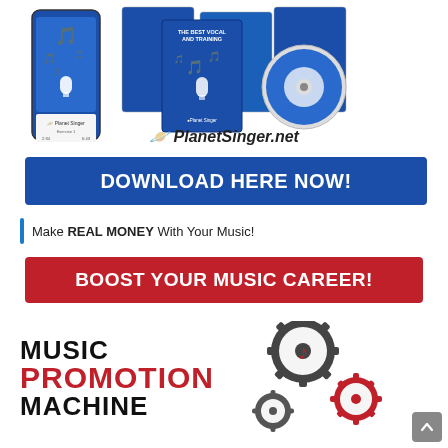[Figure (illustration): PlanetSinger.net product image showing multiple blue book/course covers, a smartphone, a CD, and the PlanetSinger.net logo with a Saturn-like planet icon]
[Figure (illustration): Blue button with white bold text reading DOWNLOAD HERE NOW!]
Make REAL MONEY With Your Music!
[Figure (illustration): Red button with white bold text reading BOOST YOUR MUSIC CAREER!]
[Figure (logo): Music Promotion Machine logo with MUSIC and MACHINE in black, PROMOTION in red, and gear/music note icons in dark gray and red]